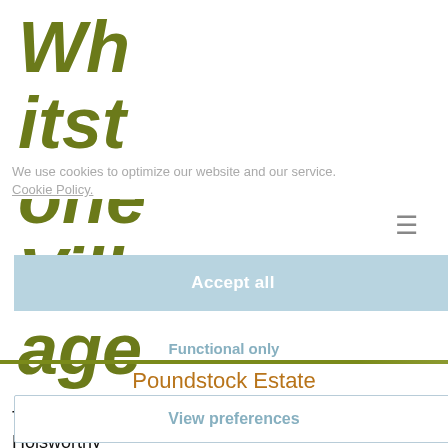Whitstone Village
We use cookies to optimize our website and our service. Cookie Policy.
≡
Accept all
Functional only
Poundstock Estate
View preferences
The Poundstock Estate Property Sale at Holsworthy